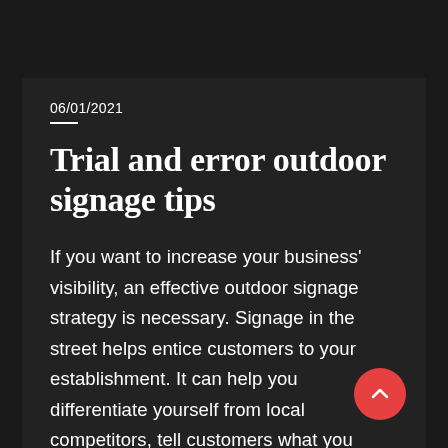06/01/2021
Trial and error outdoor signage tips
If you want to increase your business' visibility, an effective outdoor signage strategy is necessary. Signage in the street helps entice customers to your establishment. It can help you differentiate yourself from local competitors, tell customers what you offer, and increase sales of your featured products. To get started on a successful outdoor signage strategy, check out